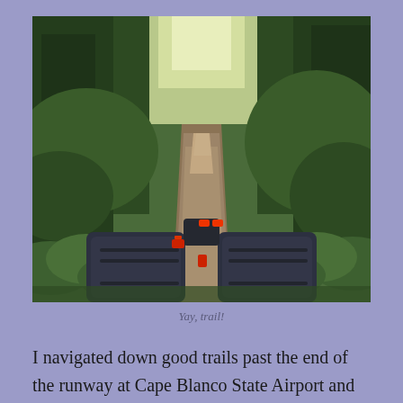[Figure (photo): A first-person view from a bicycle with handlebar bags (black panniers with red accents) on a narrow dirt trail through a lush green forest with ferns and dense vegetation on both sides, sunlight filtering through the canopy.]
Yay, trail!
I navigated down good trails past the end of the runway at Cape Blanco State Airport and out to Blacklock Point. The views there were fabulous, and as luck